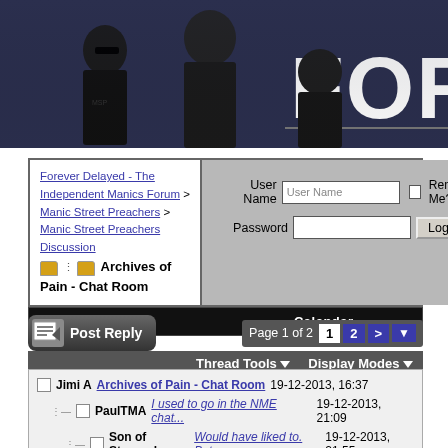[Figure (photo): Band photo of three members of Manic Street Preachers against dark navy background, with large white bold text 'FOR' visible on right side]
Forever Delayed - The Independent Manics Forum > Manic Street Preachers > Manic Street Preachers Discussion > Archives of Pain - Chat Room
User Name | Password | Remember Me? | Log in
FAQ | Calendar
Post Reply | Page 1 of 2 | 1 | 2 | >
Thread Tools | Display Modes
Jimi A Archives of Pain - Chat Room 19-12-2013, 16:37
PaulTMA I used to go in the NME chat... 19-12-2013, 21:09
Son of Stopped Would have liked to. But... 19-12-2013, 21:55